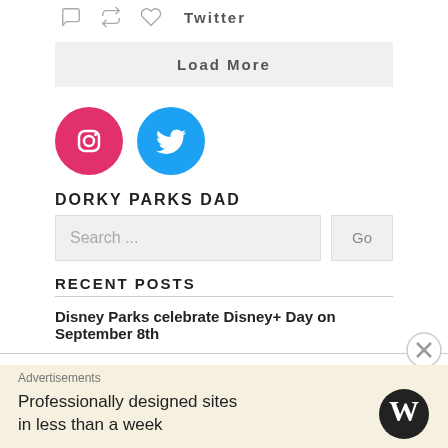[Figure (screenshot): Twitter action icons (comment, retweet, like) and Twitter label]
Load More
[Figure (logo): Instagram and Twitter social media circular icon buttons]
DORKY PARKS DAD
Search ...
RECENT POSTS
Disney Parks celebrate Disney+ Day on September 8th
Everything Coming to Universal Horror Nights at Universal
Advertisements
Professionally designed sites in less than a week